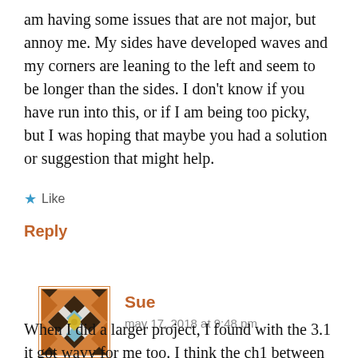am having some issues that are not major, but annoy me. My sides have developed waves and my corners are leaning to the left and seem to be longer than the sides. I don't know if you have run into this, or if I am being too picky, but I was hoping that maybe you had a solution or suggestion that might help.
★ Like
Reply
Sue
may 17, 2018 at 9:48 pm
[Figure (illustration): Quilt pattern avatar with orange, brown, white, blue and yellow geometric design]
When I did a larger project, I found with the 3.1 it got wavy for me too. I think the ch1 between